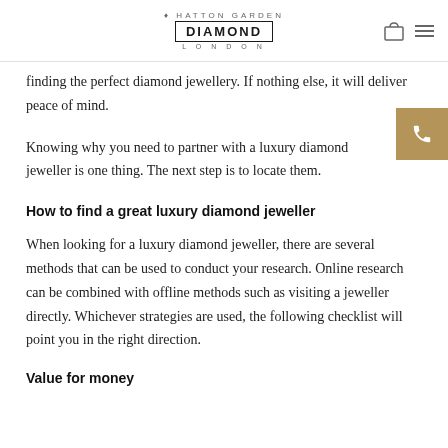HATTON GARDEN DIAMOND LONDON
finding the perfect diamond jewellery. If nothing else, it will deliver peace of mind.
Knowing why you need to partner with a luxury diamond jeweller is one thing. The next step is to locate them.
How to find a great luxury diamond jeweller
When looking for a luxury diamond jeweller, there are several methods that can be used to conduct your research. Online research can be combined with offline methods such as visiting a jeweller directly. Whichever strategies are used, the following checklist will point you in the right direction.
Value for money